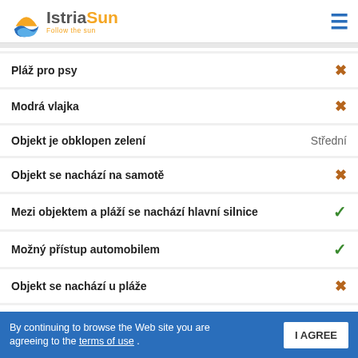IstriaSun – Follow the sun
Pláž pro psy – ✗
Modrá vlajka – ✗
Objekt je obklopen zelení – Střední
Objekt se nachází na samotě – ✗
Mezi objektem a pláží se nachází hlavní silnice – ✓
Možný přístup automobilem – ✓
Objekt se nachází u pláže – ✗
Nejbližší pláž – Oblázková Skalnatá
By continuing to browse the Web site you are agreeing to the terms of use .